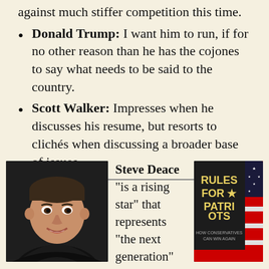against much stiffer competition this time.
Donald Trump: I want him to run, if for no other reason than he has the cojones to say what needs to be said to the country.
Scott Walker: Impresses when he discusses his resume, but resorts to clichés when discussing a broader base of issues.
[Figure (photo): Headshot photo of Steve Deace, a smiling man in a dark shirt]
Steve Deace "is a rising star" that represents "the next generation"
[Figure (photo): Book cover: Rules for Patriots — How Conservatives Can Win Again]